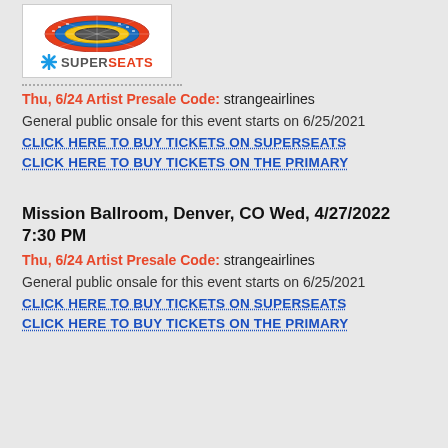[Figure (logo): SuperSeats logo with arena seating map above and blue snowflake/asterisk icon with SUPERSEATS text]
Thu, 6/24 Artist Presale Code: strangeairlines
General public onsale for this event starts on 6/25/2021
CLICK HERE TO BUY TICKETS ON SUPERSEATS
CLICK HERE TO BUY TICKETS ON THE PRIMARY
Mission Ballroom, Denver, CO Wed, 4/27/2022 7:30 PM
Thu, 6/24 Artist Presale Code: strangeairlines
General public onsale for this event starts on 6/25/2021
CLICK HERE TO BUY TICKETS ON SUPERSEATS
CLICK HERE TO BUY TICKETS ON THE PRIMARY